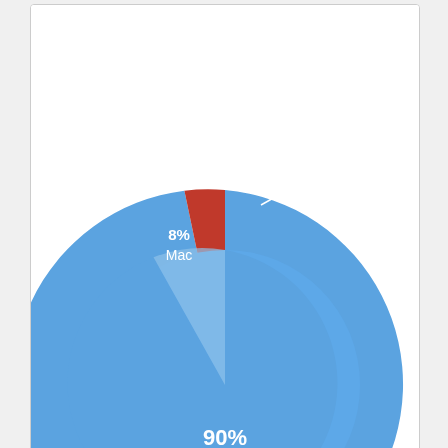[Figure (pie-chart): How People Access The Web 2010]
How People Access The Web 2010 - © Copyright telEvolution, Inc.